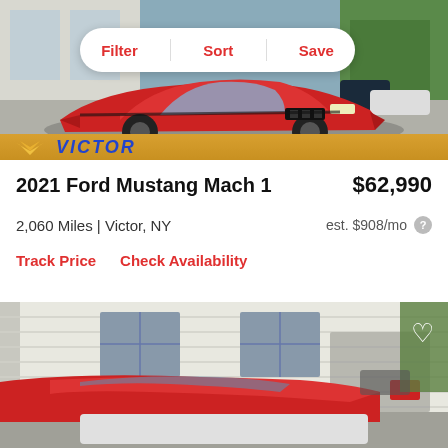[Figure (photo): Red 2021 Ford Mustang Mach 1 parked at Victor Chevrolet dealership, front 3/4 view with filter/sort/save toolbar overlay]
Filter  Sort  Save
2021 Ford Mustang Mach 1  $62,990
2,060 Miles | Victor, NY
est. $908/mo
Track Price    Check Availability
[Figure (photo): Red Ford Mustang convertible parked outside white-sided building, top view showing vehicle roof and surroundings]